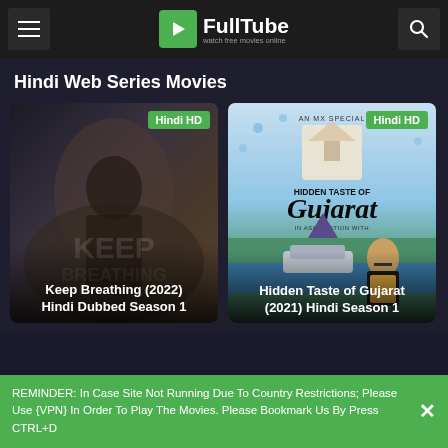FullTube - watch free movies online
Hindi Web Series Movies
[Figure (screenshot): Movie thumbnail for Keep Breathing (2022) Hindi Dubbed Season 1, dark interior car scene with woman, badge 'Hindi HD']
[Figure (screenshot): Movie thumbnail for Hidden Taste of Gujarat (2021) Hindi Season 1, promotional image with landmark and man, badge 'Hindi HD']
REMINDER: In Case Site Not Running Due To Country Restrictions; Please Use {VPN} In Order To Play The Movies. Please Bookmark Us By Press CTRL+D